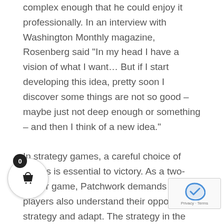complex enough that he could enjoy it professionally. In an interview with Washington Monthly magazine, Rosenberg said "In my head I have a vision of what I want… But if I start developing this idea, pretty soon I discover some things are not so good – maybe just not deep enough or something – and then I think of a new idea."

In strategy games, a careful choice of moves is essential to victory. As a two-player game, Patchwork demands that players also understand their opponent's strategy and adapt. The strategy in the game is having an interesting decision each turn because you have just one move each turn. Many experienced